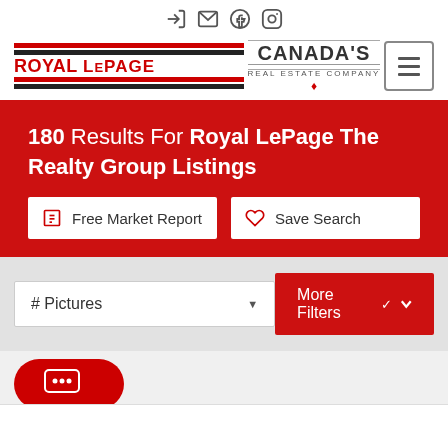Royal LePage — Canada's Real Estate Company — Navigation icons
180 Results For Royal LePage The Realty Group Listings
Free Market Report
Save Search
# Pictures
More Filters